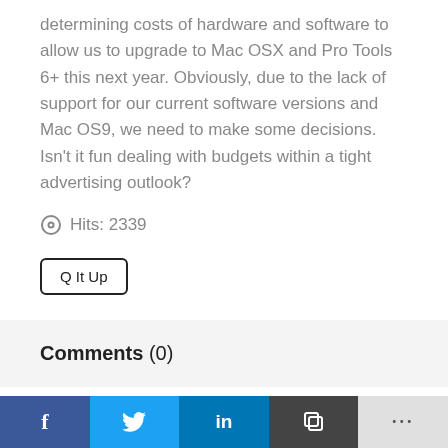determining costs of hardware and software to allow us to upgrade to Mac OSX and Pro Tools 6+ this next year. Obviously, due to the lack of support for our current software versions and Mac OS9, we need to make some decisions. Isn't it fun dealing with budgets within a tight advertising outlook?
Hits: 2339
Q It Up
Comments (0)
f  [Twitter bird]  in  [copy icon]  ...